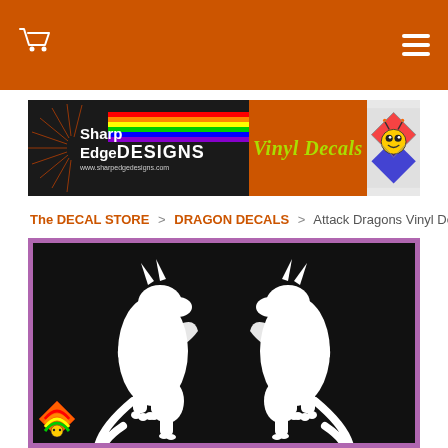Sharp Edge DESIGNS Vinyl Decals - Navigation header with cart and menu icons
[Figure (logo): Sharp Edge DESIGNS Vinyl Decals logo banner with rainbow stripes, bee mascot, and colorful text on dark background]
The DECAL STORE > DRAGON DECALS > Attack Dragons Vinyl Decal
[Figure (photo): Attack Dragons Vinyl Decal product image showing two white mirrored dragon silhouettes on black background with pink/purple border frame]